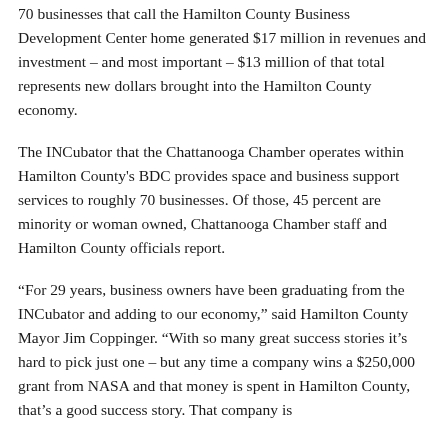70 businesses that call the Hamilton County Business Development Center home generated $17 million in revenues and investment – and most important – $13 million of that total represents new dollars brought into the Hamilton County economy.
The INCubator that the Chattanooga Chamber operates within Hamilton County's BDC provides space and business support services to roughly 70 businesses. Of those, 45 percent are minority or woman owned, Chattanooga Chamber staff and Hamilton County officials report.
“For 29 years, business owners have been graduating from the INCubator and adding to our economy,” said Hamilton County Mayor Jim Coppinger. “With so many great success stories it’s hard to pick just one – but any time a company wins a $250,000 grant from NASA and that money is spent in Hamilton County, that’s a good success story. That company is